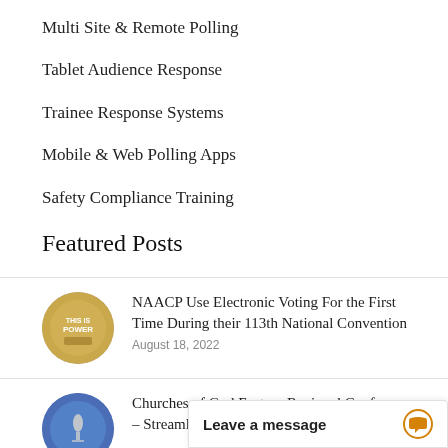Multi Site & Remote Polling
Tablet Audience Response
Trainee Response Systems
Mobile & Web Polling Apps
Safety Compliance Training
Featured Posts
[Figure (photo): Circular thumbnail image of a gold coin or medal with text 'THIS IS POWER']
NAACP Use Electronic Voting For the First Time During their 113th National Convention
August 18, 2022
[Figure (photo): Circular thumbnail image of a microphone at a conference with blue tones]
Churches of God Eastern Regional Conference – Streamline their April Meeting With Elect…
Leave a message